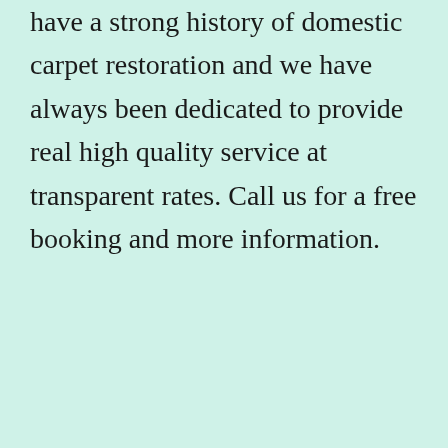have a strong history of domestic carpet restoration and we have always been dedicated to provide real high quality service at transparent rates. Call us for a free booking and more information.